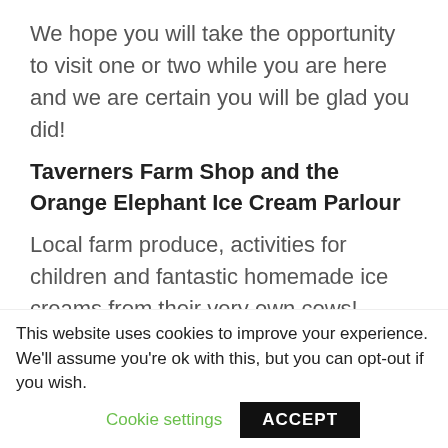We hope you will take the opportunity to visit one or two while you are here and we are certain you will be glad you did!
Taverners Farm Shop and the Orange Elephant Ice Cream Parlour
Local farm produce, activities for children and fantastic homemade ice creams from their very own cows!
— — —
This website uses cookies to improve your experience. We'll assume you're ok with this, but you can opt-out if you wish. Cookie settings ACCEPT